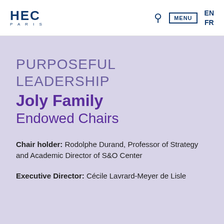HEC PARIS — MENU — EN FR
PURPOSEFUL LEADERSHIP Joly Family Endowed Chairs
Chair holder: Rodolphe Durand, Professor of Strategy and Academic Director of S&O Center
Executive Director: Cécile Lavrard-Meyer de Lisle